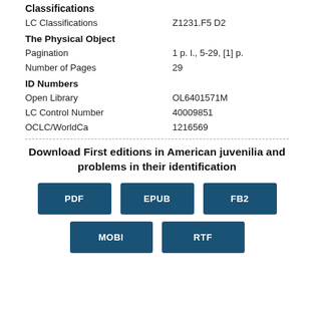Classifications
| Field | Value |
| --- | --- |
| LC Classifications | Z1231.F5 D2 |
The Physical Object
| Field | Value |
| --- | --- |
| Pagination | 1 p. l., 5-29, [1] p. |
| Number of Pages | 29 |
ID Numbers
| Field | Value |
| --- | --- |
| Open Library | OL6401571M |
| LC Control Number | 40009851 |
| OCLC/WorldCa | 1216569 |
Download First editions in American juvenilia and problems in their identification
PDF EPUB FB2 MOBI RTF